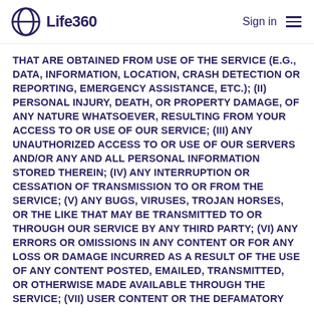Life360 | Sign in
THAT ARE OBTAINED FROM USE OF THE SERVICE (E.G., DATA, INFORMATION, LOCATION, CRASH DETECTION OR REPORTING, EMERGENCY ASSISTANCE, ETC.); (II) PERSONAL INJURY, DEATH, OR PROPERTY DAMAGE, OF ANY NATURE WHATSOEVER, RESULTING FROM YOUR ACCESS TO OR USE OF OUR SERVICE; (III) ANY UNAUTHORIZED ACCESS TO OR USE OF OUR SERVERS AND/OR ANY AND ALL PERSONAL INFORMATION STORED THEREIN; (IV) ANY INTERRUPTION OR CESSATION OF TRANSMISSION TO OR FROM THE SERVICE; (V) ANY BUGS, VIRUSES, TROJAN HORSES, OR THE LIKE THAT MAY BE TRANSMITTED TO OR THROUGH OUR SERVICE BY ANY THIRD PARTY; (VI) ANY ERRORS OR OMISSIONS IN ANY CONTENT OR FOR ANY LOSS OR DAMAGE INCURRED AS A RESULT OF THE USE OF ANY CONTENT POSTED, EMAILED, TRANSMITTED, OR OTHERWISE MADE AVAILABLE THROUGH THE SERVICE; (VII) USER CONTENT OR THE DEFAMATORY